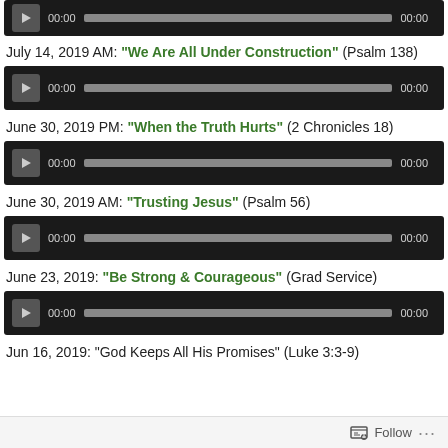[Figure (screenshot): Audio player bar at top (partial, cropped)]
July 14, 2019 AM: “We Are All Under Construction” (Psalm 138)
[Figure (screenshot): Audio player for July 14, 2019 AM sermon]
June 30, 2019 PM: “When the Truth Hurts” (2 Chronicles 18)
[Figure (screenshot): Audio player for June 30, 2019 PM sermon]
June 30, 2019 AM: “Trusting Jesus” (Psalm 56)
[Figure (screenshot): Audio player for June 30, 2019 AM sermon]
June 23, 2019: “Be Strong & Courageous” (Grad Service)
[Figure (screenshot): Audio player for June 23, 2019 sermon]
Jun 16, 2019: “God Keeps All His Promises” (Luke 3:3-9)
Follow ...